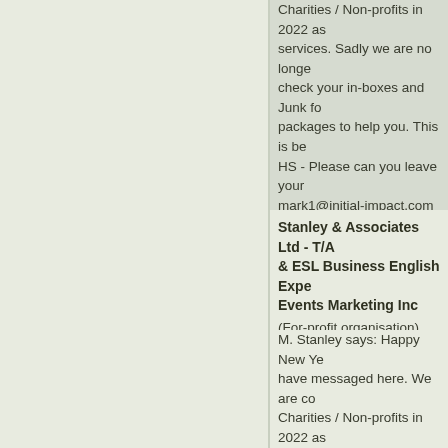Charities / Non-profits in 2022 as services. Sadly we are no longer check your in-boxes and Junk fo packages to help you. This is be HS - Please can you leave your mark1@initial-impact.com pleas and stay safe always everyone!
Stanley & Associates Ltd - T/A & ESL Business English Expe Events Marketing Inc
(For-profit organisation)
M. Stanley says: Happy New Ye have messaged here. We are co Charities / Non-profits in 2022 as services. Sadly we are no longe check your in-boxes and Junk fo packages to help you. This is be HS - Please can you leave your mark1@initial-impact.com pleas and stay safe always everyone!